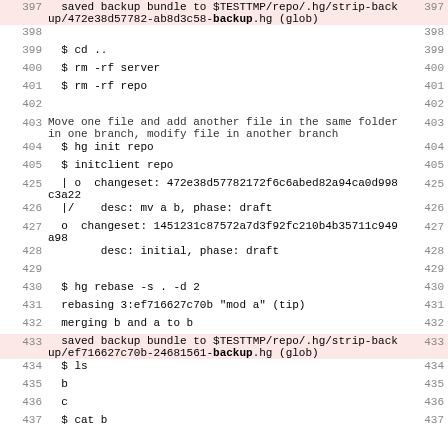397  saved backup bundle to $TESTTMP/repo/.hg/strip-backup/472e38d57782-ab8d3c58-backup.hg (glob)  397
398  398
399    $ cd ..  399
400    $ rm -rf server  400
401    $ rm -rf repo  401
402  402
403  Move one file and add another file in the same folder in one branch, modify file in another branch  403
404    $ hg init repo  404
405    $ initclient repo  405
425    | o  changeset: 472e38d57782172f6c6abed82a94ca0d998c3a22  425
426    |/    desc: mv a b, phase: draft  426
427    o  changeset: 1451231c87572a7d3f92fc210b4b35711c949a98  427
428          desc: initial, phase: draft  428
429  429
430    $ hg rebase -s . -d 2  430
431    rebasing 3:ef716627c70b "mod a" (tip)  431
432    merging b and a to b  432
433    saved backup bundle to $TESTTMP/repo/.hg/strip-backup/ef716627c70b-24681561-backup.hg (glob)  433
434    $ ls  434
435    b  435
436    c  436
437    $ cat b  437